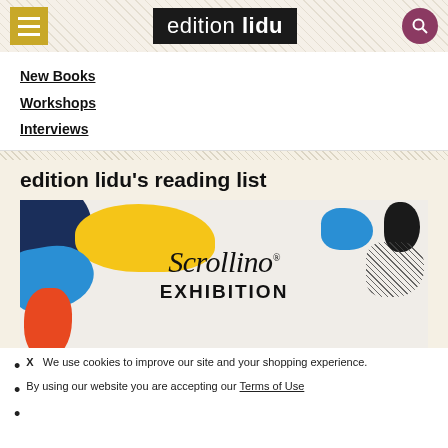edition lidu
New Books
Workshops
Interviews
edition lidu's reading list
[Figure (illustration): Scrollino Exhibition colorful abstract illustration with navy, yellow, blue, and red/orange shapes, featuring the text 'Scrollino' in script and 'EXHIBITION' in bold capitals]
X  We use cookies to improve our site and your shopping experience.
By using our website you are accepting our Terms of Use